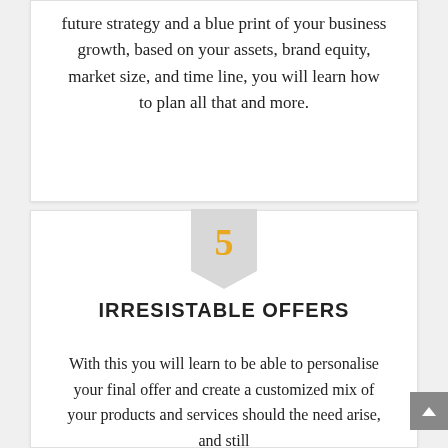future strategy and a blue print of your business growth, based on your assets, brand equity, market size, and time line, you will learn how to plan all that and more.
[Figure (infographic): A bookmark/pennant shaped badge with the number 5 in gold/amber color, light gray background, used as a section number indicator.]
IRRESISTABLE OFFERS
With this you will learn to be able to personalise your final offer and create a customized mix of your products and services should the need arise, and still